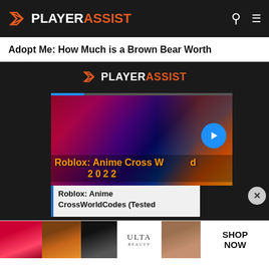PLAYERASSIST
Adopt Me: How Much is a Brown Bear Worth
[Figure (screenshot): PlayerAssist website dark area with an embedded video card showing a Roblox Anime Cross World article, with a blue next button and a text preview card below showing 'Roblox: Anime CrossWorldCodes (Tested']
[Figure (infographic): Ulta Beauty advertisement banner with makeup product images and SHOP NOW call to action]